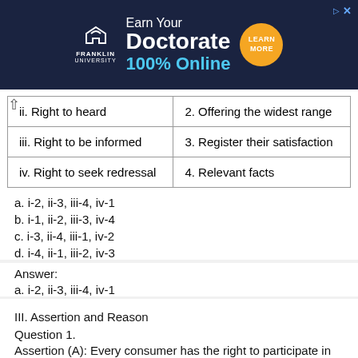[Figure (other): Franklin University advertisement banner: 'Earn Your Doctorate 100% Online' with Learn More button]
| ii. Right to heard | 2. Offering the widest range |
| iii. Right to be informed | 3. Register their satisfaction |
| iv. Right to seek redressal | 4. Relevant facts |
a. i-2, ii-3, iii-4, iv-1
b. i-1, ii-2, iii-3, iv-4
c. i-3, ii-4, iii-1, iv-2
d. i-4, ii-1, iii-2, iv-3
Answer:
a. i-2, ii-3, iii-4, iv-1
III. Assertion and Reason
Question 1.
Assertion (A): Every consumer has the right to participate in the acquisition of...